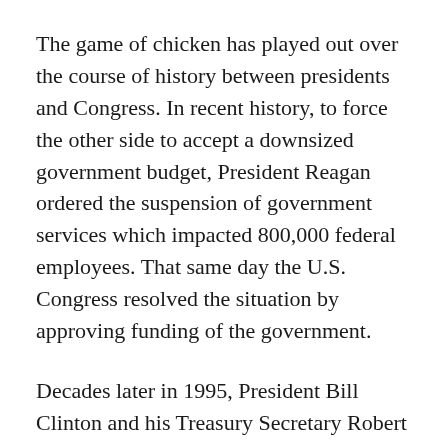The game of chicken has played out over the course of history between presidents and Congress. In recent history, to force the other side to accept a downsized government budget, President Reagan ordered the suspension of government services which impacted 800,000 federal employees. That same day the U.S. Congress resolved the situation by approving funding of the government.
Decades later in 1995, President Bill Clinton and his Treasury Secretary Robert Rubin had a record showdown against Congressional Republicans. Congressional leaders opposed the President’s offer to keep the government open during the negotiation. During President Barack Obama’s showdown with Republican leaders in Congress, the government also